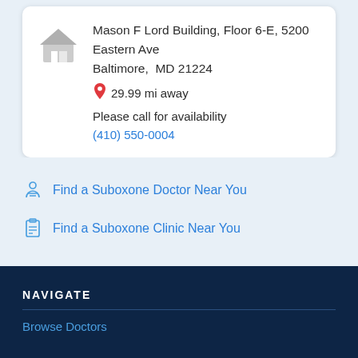Mason F Lord Building, Floor 6-E, 5200 Eastern Ave
Baltimore,  MD 21224
29.99 mi away
Please call for availability
(410) 550-0004
Find a Suboxone Doctor Near You
Find a Suboxone Clinic Near You
NAVIGATE
Browse Doctors